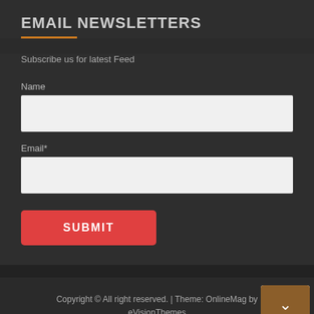EMAIL NEWSLETTERS
Subscribe us for latest Feed
Name
Email*
SUBMIT
Copyright © All right reserved. | Theme: OnlineMag by eVisionThemes
Blog / Contact Us / Home / Privacy Policy